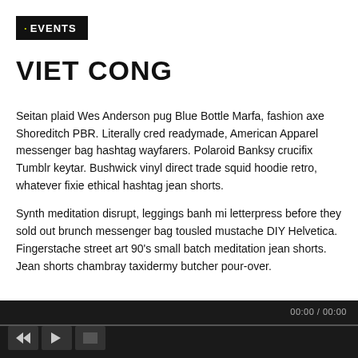· EVENTS
VIET CONG
Seitan plaid Wes Anderson pug Blue Bottle Marfa, fashion axe Shoreditch PBR. Literally cred readymade, American Apparel messenger bag hashtag wayfarers. Polaroid Banksy crucifix Tumblr keytar. Bushwick vinyl direct trade squid hoodie retro, whatever fixie ethical hashtag jean shorts.
Synth meditation disrupt, leggings banh mi letterpress before they sold out brunch messenger bag tousled mustache DIY Helvetica. Fingerstache street art 90's small batch meditation jean shorts. Jean shorts chambray taxidermy butcher pour-over.
[Figure (other): Media player bar with time display 00:00 / 00:00, progress bar, and playback controls (rewind, play, and one more button)]